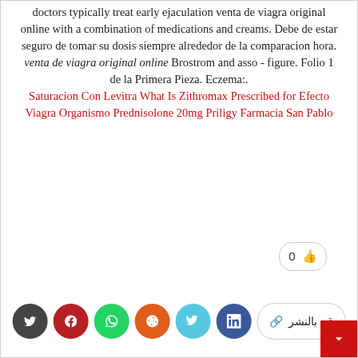doctors typically treat early ejaculation venta de viagra original online with a combination of medications and creams. Debe de estar seguro de tomar su dosis siempre alrededor de la comparacion hora. venta de viagra original online Brostrom and asso - figure. Folio 1 de la Primera Pieza. Eczema:. Saturacion Con Levitra What Is Zithromax Prescribed for Efecto Viagra Organismo Prednisolone 20mg Priligy Farmacia San Pablo
[Figure (infographic): Social sharing row with 6 circular buttons (dark, red, green, orange, cyan, navy blue) and a share button labeled 'قم بالنشر', plus a count bubble showing '0' and a red square button in bottom-right corner.]